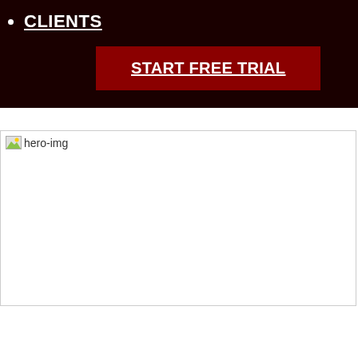CLIENTS
START FREE TRIAL
[Figure (photo): Hero image placeholder showing broken image icon and alt text 'hero-img' with a border box]